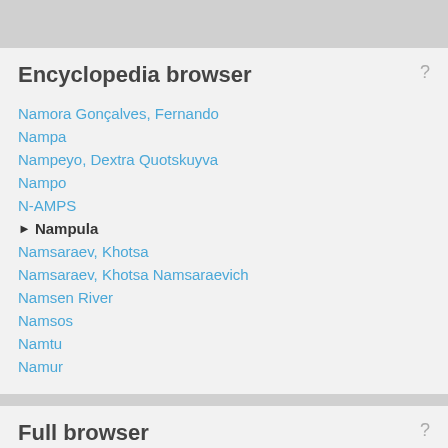Encyclopedia browser
Namora Gonçalves, Fernando
Nampa
Nampeyo, Dextra Quotskuyva
Nampo
N-AMPS
Nampula
Namsaraev, Khotsa
Namsaraev, Khotsa Namsaraevich
Namsen River
Namsos
Namtu
Namur
Full browser